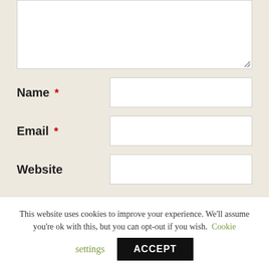[Figure (screenshot): A web form textarea input field (white box) with resize handle, partially visible at top of page]
Name *
Email *
Website
Attachments
Choose Files  No file chosen
The maximum upload file size: 8 MB.
This website uses cookies to improve your experience. We'll assume you're ok with this, but you can opt-out if you wish. Cookie settings ACCEPT